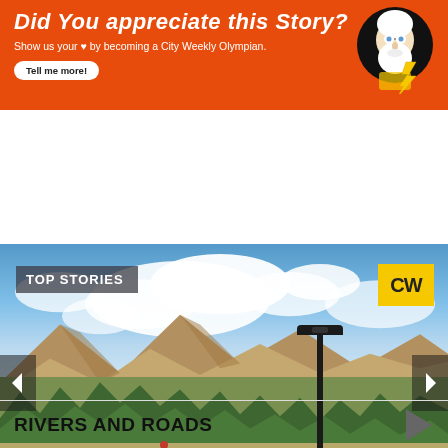[Figure (illustration): Orange promotional banner with white bold italic text 'Did You appreciate this Story?', subtitle 'Show us your heart by becoming a City Weekly Olympian.', a white 'Tell me more!' button, and a cartoon Zeus figure on the right.]
[Figure (photo): Outdoor photo showing a cyclist on a path with mountains, trees, blue sky with clouds, and a lamppost in background. Overlaid with 'TOP STORIES' badge and 'CW' logo. Navigation arrows on sides, pagination dots at bottom.]
RIVERS AND ROADS